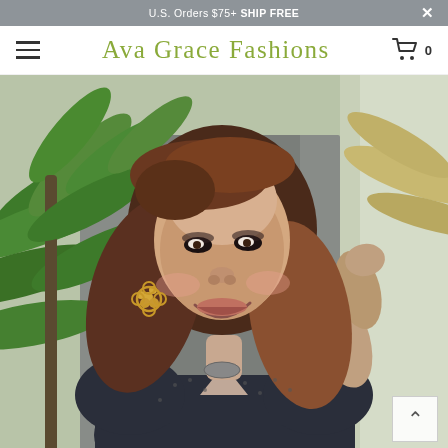U.S. Orders $75+ SHIP FREE
Ava Grace Fashions
[Figure (photo): A smiling woman with auburn-highlighted wavy hair, wearing a dark patterned top and gold floral earrings, posing outdoors in front of tropical palm plants and a gray wall.]